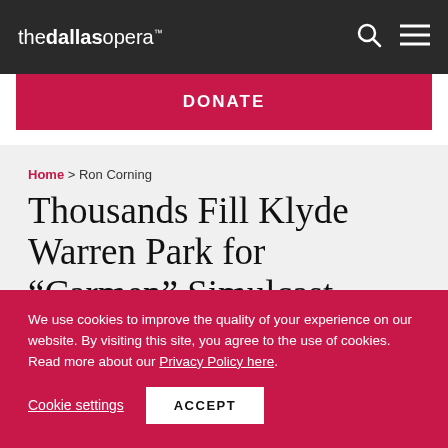the dallas opera (logo) [search icon] [menu icon]
DONATE
Home > Ron Corning
Thousands Fill Klyde Warren Park for “Carmen” Simulcast
We use cookies to improve the quality of your experience on our website. By visiting this site, you agree to the use of cookies. Read more about our Privacy Policy here.
Cookie settings   ACCEPT